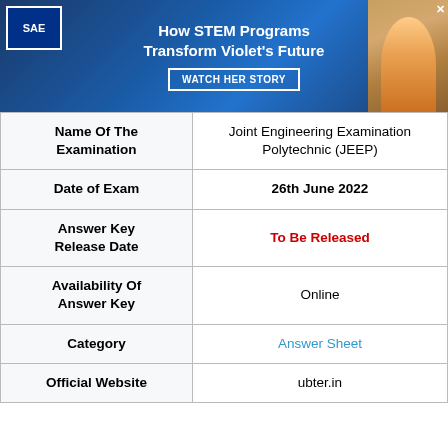[Figure (other): Advertisement banner for SAE with text 'How STEM Programs Transform Violet's Future' and 'WATCH HER STORY' button]
| Name Of The Examination | Joint Engineering Examination Polytechnic (JEEP) |
| --- | --- |
| Date of Exam | 26th June 2022 |
| Answer Key Release Date | To Be Released |
| Availability Of Answer Key | Online |
| Category | Answer Sheet |
| Official Website | ubter.in |